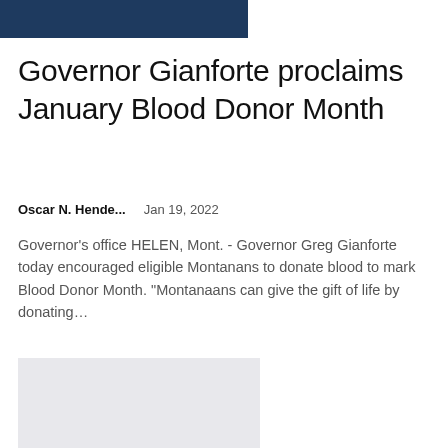[Figure (other): Dark navy blue rectangular image placeholder at top of page]
Governor Gianforte proclaims January Blood Donor Month
Oscar N. Hende...    Jan 19, 2022
Governor's office HELEN, Mont. - Governor Greg Gianforte today encouraged eligible Montanans to donate blood to mark Blood Donor Month. “Montanaans can give the gift of life by donating…
[Figure (photo): Light gray rectangular image placeholder]
Pressure is mounting to relax